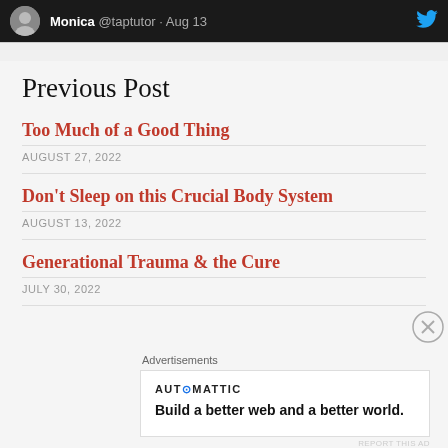[Figure (screenshot): Dark top bar showing Twitter post header with avatar, username Monica @taptutor · Aug 13, and Twitter bird icon]
Previous Post
Too Much of a Good Thing
AUGUST 27, 2022
Don't Sleep on this Crucial Body System
AUGUST 13, 2022
Generational Trauma & the Cure
JULY 30, 2022
[Figure (screenshot): Advertisement box: Automattic logo with tagline Build a better web and a better world.]
Advertisements